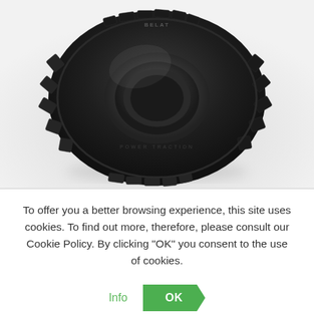[Figure (photo): 3D rendered black forklift/industrial tire with deep tread pattern, shown at an angle on a light gray background. Text on sidewall reads POWER TRACTION.]
To offer you a better browsing experience, this site uses cookies. To find out more, therefore, please consult our Cookie Policy. By clicking "OK" you consent to the use of cookies.
Info
OK